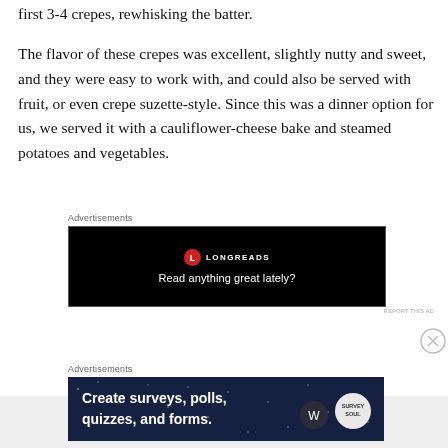first 3-4 crepes, rewhisking the batter.
The flavor of these crepes was excellent, slightly nutty and sweet, and they were easy to work with, and could also be served with fruit, or even crepe suzette-style. Since this was a dinner option for us, we served it with a cauliflower-cheese bake and steamed potatoes and vegetables.
Advertisements
[Figure (other): Longreads advertisement banner: black background with Longreads logo (red circle with L) and text 'Read anything great lately?']
REPORT THIS AD
[Figure (other): Close/dismiss button (circle with X)]
Advertisements
[Figure (other): WordPress advertisement: dark navy background with stars, text 'Create surveys, polls, quizzes, and forms.' with WordPress and Survey Owl logos]